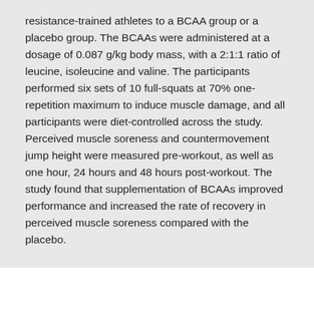resistance-trained athletes to a BCAA group or a placebo group. The BCAAs were administered at a dosage of 0.087 g/kg body mass, with a 2:1:1 ratio of leucine, isoleucine and valine. The participants performed six sets of 10 full-squats at 70% one-repetition maximum to induce muscle damage, and all participants were diet-controlled across the study. Perceived muscle soreness and countermovement jump height were measured pre-workout, as well as one hour, 24 hours and 48 hours post-workout. The study found that supplementation of BCAAs improved performance and increased the rate of recovery in perceived muscle soreness compared with the placebo.